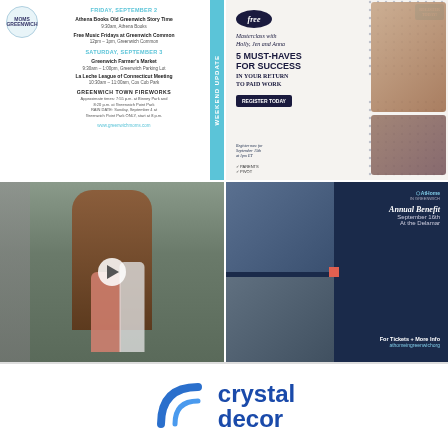[Figure (infographic): Greenwich Moms events listing for Friday September 2 and Saturday September 3, with WEEKEND UPDATE sidebar. Events include Athena Books Story Time, Free Music Fridays at Greenwich Common, Greenwich Farmer's Market, La Leche League meeting, and Greenwich Town Fireworks. Website: www.greenwichmoms.com]
[Figure (infographic): Free Masterclass ad with Holly, Jen and Anna: '5 Must-Haves for Success in Your Return to Paid Work'. Register today for September 15th at 1pm ET. Parents Pivot branding. Register Today button top right.]
[Figure (photo): Two people (woman and man) standing in front of a wooden arched door entrance with stone wall. A play button overlay suggests this is a video thumbnail.]
[Figure (infographic): At Home in Greenwich Annual Benefit, September 16th, At the Delamar. For Tickets + More Info: athomeingreenwichorg. Navy blue background with group photos.]
[Figure (logo): Crystal Decor logo - blue arc/umbrella shape on left, text 'crystal decor' in bold blue on right]